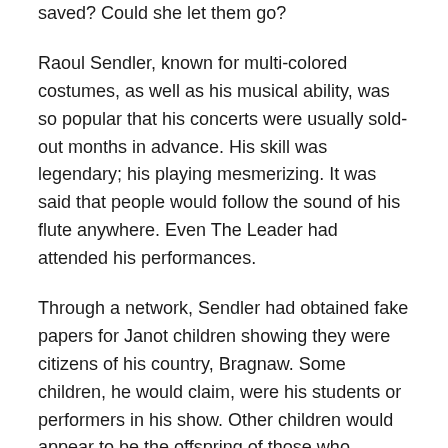saved? Could she let them go?
Raoul Sendler, known for multi-colored costumes, as well as his musical ability, was so popular that his concerts were usually sold-out months in advance. His skill was legendary; his playing mesmerizing. It was said that people would follow the sound of his flute anywhere. Even The Leader had attended his performances.
Through a network, Sendler had obtained fake papers for Janot children showing they were citizens of his country, Bragnaw. Some children, he would claim, were his students or performers in his show. Other children would appear to be the offspring of those who worked with him. After he performed his final concert at the Grand Academy, Sendler would take the children to Bragnaw, where they would be away from danger. They'd be placed in foster homes until they could return home safely.